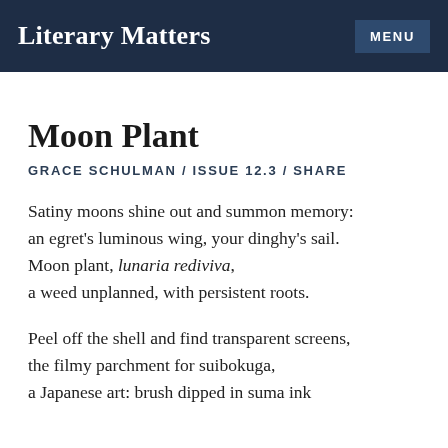Literary Matters   MENU
Moon Plant
GRACE SCHULMAN / ISSUE 12.3 / SHARE
Satiny moons shine out and summon memory:
an egret's luminous wing, your dinghy's sail.
Moon plant, lunaria rediviva,
a weed unplanned, with persistent roots.
Peel off the shell and find transparent screens,
the filmy parchment for suibokuga,
a Japanese art: brush dipped in suma ink